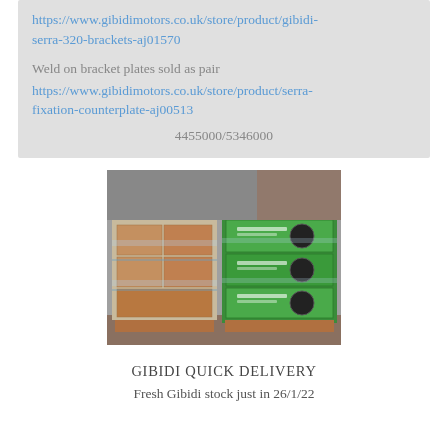https://www.gibidimotors.co.uk/store/product/gibidi-serra-320-brackets-aj01570

Weld on bracket plates sold as pair
https://www.gibidimotors.co.uk/store/product/serra-fixation-counterplate-aj00513

4455000/5346000
[Figure (photo): Two pallets wrapped in plastic film: one containing brown cardboard boxes, the other stacked with green branded Gibidi product boxes with product images on them.]
GIBIDI QUICK DELIVERY
Fresh Gibidi stock just in 26/1/22